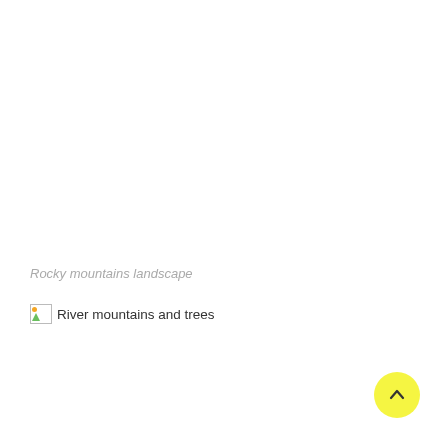Rocky mountains landscape
[Figure (photo): Broken image placeholder with alt text 'River mountains and trees']
[Figure (other): Yellow circular scroll-to-top button with upward chevron arrow]